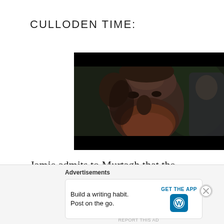CULLODEN TIME:
[Figure (photo): Close-up of a bearded man (Murtagh character) with dark background, from the TV show Outlander, Culloden battle scene]
Jamie admits to Murtagh that the battle “was doomed from the start,” and so he charges his
Advertisements
Build a writing habit. Post on the go.
GET THE APP